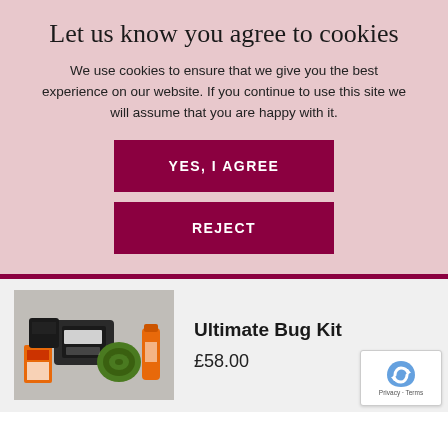Let us know you agree to cookies
We use cookies to ensure that we give you the best experience on our website. If you continue to use this site we will assume that you are happy with it.
YES, I AGREE
REJECT
[Figure (photo): Product photo of Ultimate Bug Kit showing various insect repellent products including Lifesystems mosquito net kit, mosquito coils, sprays, and other bug protection items]
Ultimate Bug Kit
£58.00